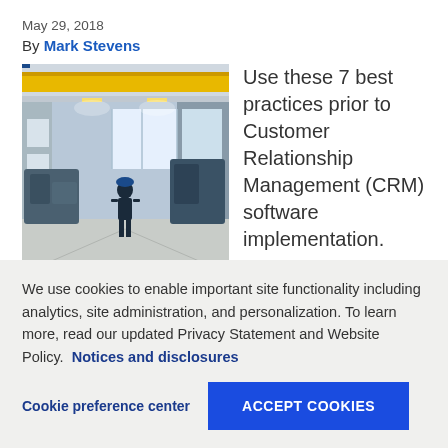May 29, 2018
By Mark Stevens
[Figure (photo): A worker in a blue hard hat walking through a large industrial warehouse/factory with a yellow overhead crane, machinery, and bright windows in the background.]
Use these 7 best practices prior to Customer Relationship Management (CRM) software implementation.
Before you determine which CRM is right for...
We use cookies to enable important site functionality including analytics, site administration, and personalization. To learn more, read our updated Privacy Statement and Website Policy. Notices and disclosures
Cookie preference center
ACCEPT COOKIES